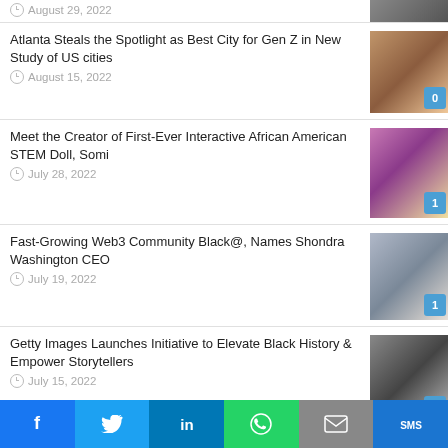August 29, 2022
Atlanta Steals the Spotlight as Best City for Gen Z in New Study of US cities — August 15, 2022 — 0 comments
Meet the Creator of First-Ever Interactive African American STEM Doll, Somi — July 28, 2022 — 1 comment
Fast-Growing Web3 Community Black@, Names Shondra Washington CEO — July 19, 2022 — 1 comment
Getty Images Launches Initiative to Elevate Black History & Empower Storytellers — July 15, 2022 — 0 comments
Serena Williams Announced as Keynote
f  Twitter  in  WhatsApp  Email  SMS